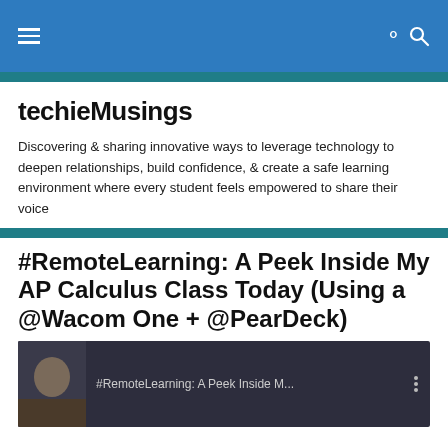techieMusings — navigation header with hamburger menu and search icon
techieMusings
Discovering & sharing innovative ways to leverage technology to deepen relationships, build confidence, & create a safe learning environment where every student feels empowered to share their voice
#RemoteLearning: A Peek Inside My AP Calculus Class Today (Using a @Wacom One + @PearDeck)
[Figure (screenshot): Video thumbnail showing a person's profile photo on the left and the text '#RemoteLearning: A Peek Inside M...' with a vertical three-dot menu icon on the right, on a dark background.]